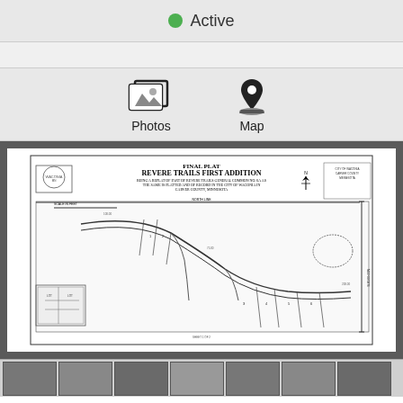Active
[Figure (other): Photos and Map navigation icons with labels]
[Figure (map): Final Plat - Revere Trails First Addition land survey plat map showing lot boundaries, roads, and dimensions]
[Figure (other): Thumbnail image strip at bottom of page]